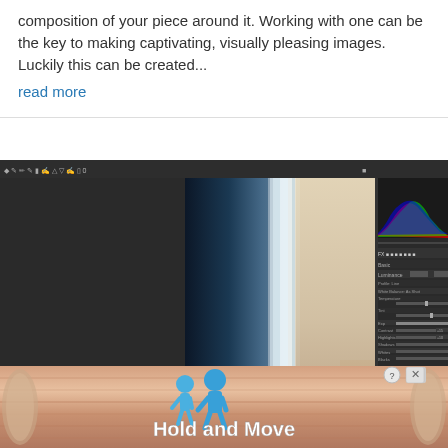composition of your piece around it. Working with one can be the key to making captivating, visually pleasing images.  Luckily this can be created...
read more
[Figure (screenshot): Photoshop interface showing a blurred abstract photo with dark blue and light/orange tones, with histogram panel visible on the right side panel]
[Figure (screenshot): Advertisement banner with wood-grain background, two blue cartoon figures, and text 'Hold and Move' with close/help buttons in top right corner]